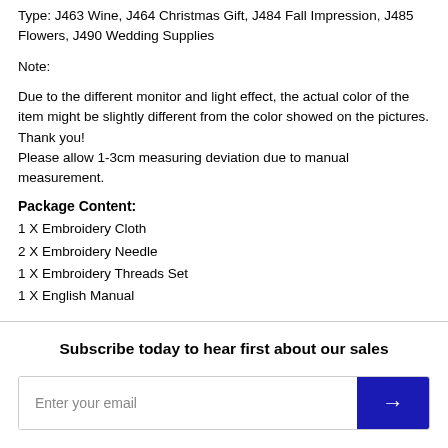Type: J463 Wine, J464 Christmas Gift, J484 Fall Impression, J485 Flowers, J490 Wedding Supplies
Note:
Due to the different monitor and light effect, the actual color of the item might be slightly different from the color showed on the pictures. Thank you!
Please allow 1-3cm measuring deviation due to manual measurement.
Package Content:
1 X Embroidery Cloth
2 X Embroidery Needle
1 X Embroidery Threads Set
1 X English Manual
Subscribe today to hear first about our sales
Enter your email